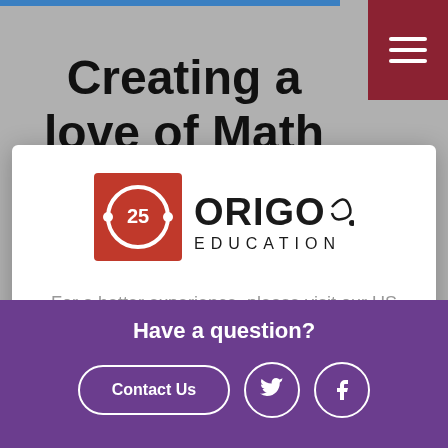[Figure (screenshot): Website background showing 'Creating a love of Math' heading on gray background with dark red hamburger menu in top right]
[Figure (logo): ORIGO Education logo with 25th anniversary badge — red square with circle containing '25', beside 'ORIGO Education' text]
For a better experience, please visit our US site
Visit US Site
No thanks, stay here
Have a question?
Contact Us